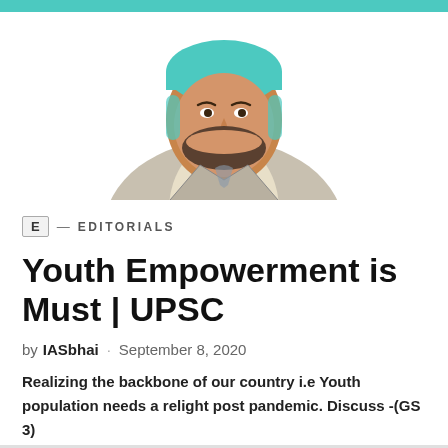[Figure (illustration): Illustrated portrait of a man with teal hair and beard, wearing a light grey suit jacket, shown from chest up against a white background with a teal bar at the top]
E — EDITORIALS
Youth Empowerment is Must | UPSC
by IASbhai · September 8, 2020
Realizing the backbone of our country i.e Youth population needs a relight post pandemic. Discuss -(GS 3)